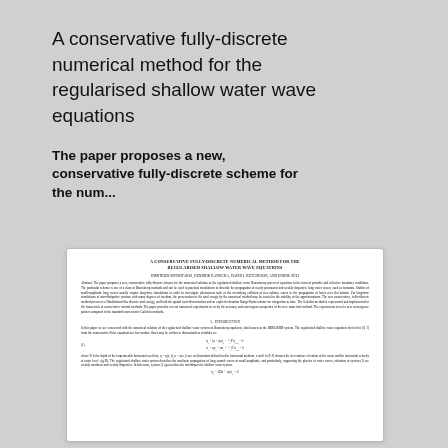A conservative fully-discrete numerical method for the regularised shallow water wave equations
The paper proposes a new, conservative fully-discrete scheme for the num...
[Figure (screenshot): Preview thumbnail of the actual paper showing the full paper layout including title, authors, abstract, introduction section, and equations.]